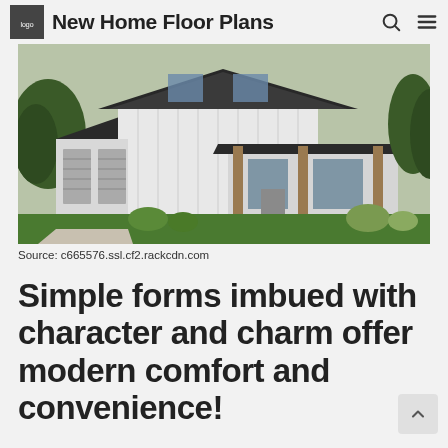New Home Floor Plans
[Figure (photo): Exterior rendering of a modern farmhouse-style two-story home with white board and batten siding, dark metal roof, attached garage, covered front porch with wood columns, and landscaped yard.]
Source: c665576.ssl.cf2.rackcdn.com
Simple forms imbued with character and charm offer modern comfort and convenience!